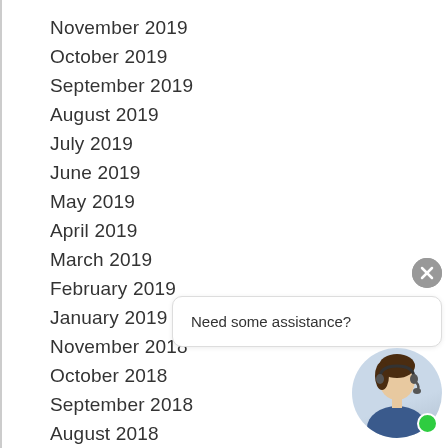November 2019
October 2019
September 2019
August 2019
July 2019
June 2019
May 2019
April 2019
March 2019
February 2019
January 2019
November 2018
October 2018
September 2018
August 2018
[Figure (illustration): Chat support widget with agent avatar, close button, and 'Need some assistance?' speech bubble]